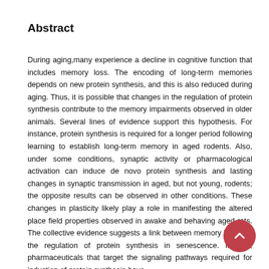Abstract
During aging,many experience a decline in cognitive function that includes memory loss. The encoding of long-term memories depends on new protein synthesis, and this is also reduced during aging. Thus, it is possible that changes in the regulation of protein synthesis contribute to the memory impairments observed in older animals. Several lines of evidence support this hypothesis. For instance, protein synthesis is required for a longer period following learning to establish long-term memory in aged rodents. Also, under some conditions, synaptic activity or pharmacological activation can induce de novo protein synthesis and lasting changes in synaptic transmission in aged, but not young, rodents; the opposite results can be observed in other conditions. These changes in plasticity likely play a role in manifesting the altered place field properties observed in awake and behaving aged rats. The collective evidence suggests a link between memory loss and the regulation of protein synthesis in senescence. In fact, pharmaceuticals that target the signaling pathways required for induction of protein synthesis have